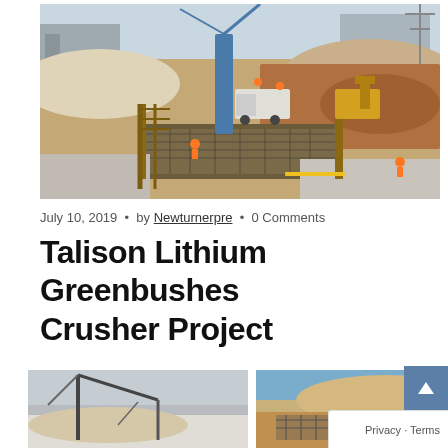[Figure (photo): Aerial view of Talison Lithium Greenbushes construction site with cranes, excavators, concrete formwork, and workers in high-visibility vests on a large earthworks platform.]
July 10, 2019  •  by Newturnerpre  •  0 Comments
Talison Lithium Greenbushes Crusher Project
[Figure (photo): Construction site photo showing cranes and equipment at the Greenbushes crusher project site.]
[Figure (photo): Construction site photo showing rebar and earthworks at the Greenbushes crusher project site.]